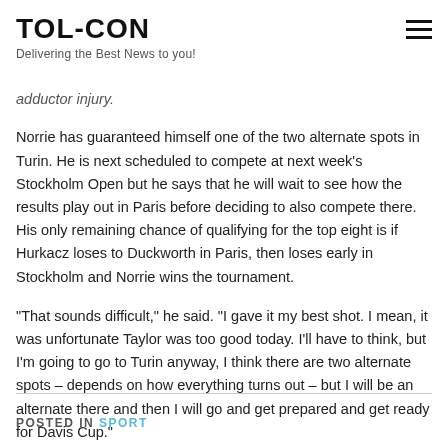TOL-CON
Delivering the Best News to you!
adductor injury.
Norrie has guaranteed himself one of the two alternate spots in Turin. He is next scheduled to compete at next week's Stockholm Open but he says that he will wait to see how the results play out in Paris before deciding to also compete there. His only remaining chance of qualifying for the top eight is if Hurkacz loses to Duckworth in Paris, then loses early in Stockholm and Norrie wins the tournament.
“That sounds difficult,” he said. “I gave it my best shot. I mean, it was unfortunate Taylor was too good today. I’ll have to think, but I’m going to go to Turin anyway, I think there are two alternate spots – depends on how everything turns out – but I will be an alternate there and then I will go and get prepared and get ready for Davis Cup.”
POSTED IN SPORT